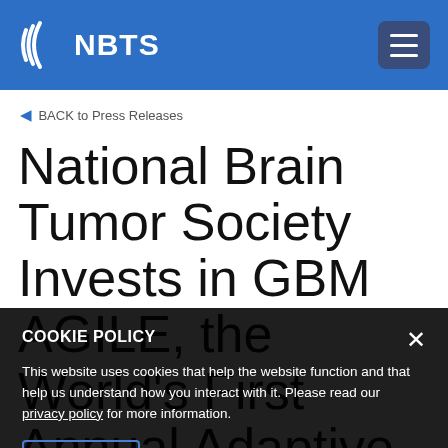NBTS
BACK to Press Releases
National Brain Tumor Society Invests in GBM AGILE, the World's First Annual Adaptive Trial for Glioblastoma Brain Cancer
COOKIE POLICY
This website uses cookies that help the website function and that help us understand how you interact with it. Please read our privacy policy for more information.
ACCEPT